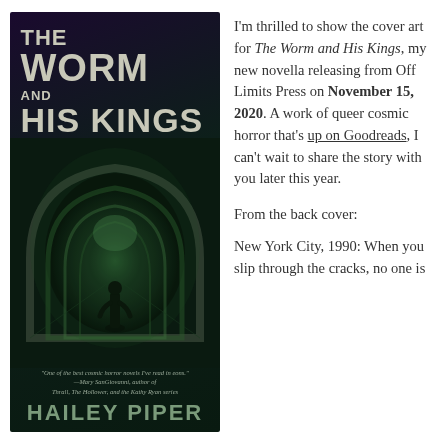[Figure (illustration): Book cover of 'The Worm and His Kings' by Hailey Piper. Dark purple/green cover showing a figure silhouetted against a glowing tunnel arch. Title in large bold uppercase letters. Blurb from Mary SanGiovanni. Author name in green letters at bottom.]
I'm thrilled to show the cover art for The Worm and His Kings, my new novella releasing from Off Limits Press on November 15, 2020. A work of queer cosmic horror that's up on Goodreads, I can't wait to share the story with you later this year.
From the back cover:
New York City, 1990: When you slip through the cracks, no one is